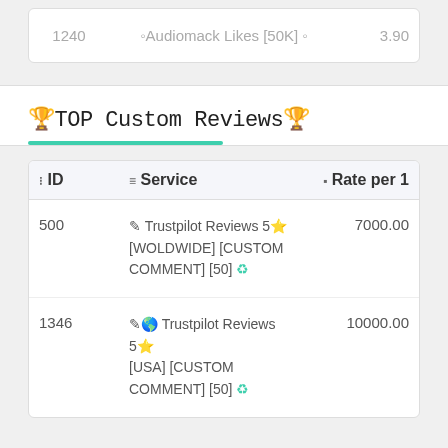| ID | Service | Rate per 1 |
| --- | --- | --- |
| 1240 | 🔊Audiomack Likes [50K] 🔊 | 3.90 |
🏆TOP Custom Reviews🏆
| ID | Service | Rate per 1 |
| --- | --- | --- |
| 500 | ✏️Trustpilot Reviews 5⭐ [WOLDWIDE] [CUSTOM COMMENT] [50] ♻ | 7000.00 |
| 1346 | ✏️🌎Trustpilot Reviews 5⭐ [USA] [CUSTOM COMMENT] [50] ♻ | 10000.00 |